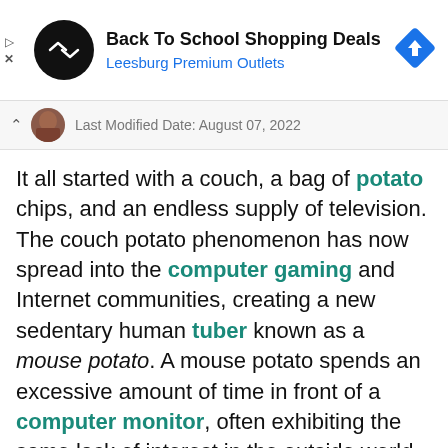[Figure (infographic): Advertisement banner for Back To School Shopping Deals at Leesburg Premium Outlets, with a circular black logo with arrows, a blue navigation diamond icon, and ad controls (play/close).]
Last Modified Date: August 07, 2022
It all started with a couch, a bag of potato chips, and an endless supply of television. The couch potato phenomenon has now spread into the computer gaming and Internet communities, creating a new sedentary human tuber known as a mouse potato. A mouse potato spends an excessive amount of time in front of a computer monitor, often exhibiting the same lack of interest in the outside world as the original television-addicted couch potato.